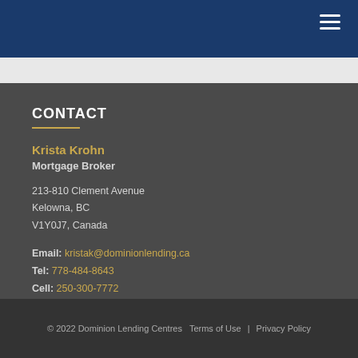Navigation bar with hamburger menu
CONTACT
Krista Krohn
Mortgage Broker
213-810 Clement Avenue
Kelowna, BC
V1Y0J7, Canada
Email: kristak@dominionlending.ca
Tel: 778-484-8643
Cell: 250-300-7772
Fax: 250-868-4969
© 2022 Dominion Lending Centres   Terms of Use  |  Privacy Policy